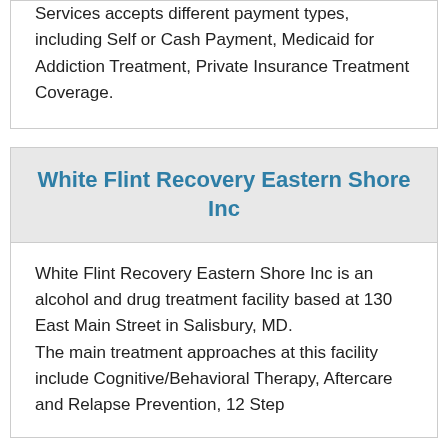Services accepts different payment types, including Self or Cash Payment, Medicaid for Addiction Treatment, Private Insurance Treatment Coverage.
White Flint Recovery Eastern Shore Inc
White Flint Recovery Eastern Shore Inc is an alcohol and drug treatment facility based at 130 East Main Street in Salisbury, MD.
The main treatment approaches at this facility include Cognitive/Behavioral Therapy, Aftercare and Relapse Prevention, 12 Step